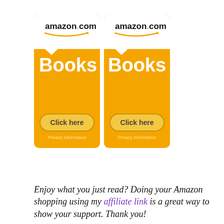[Figure (infographic): Two Amazon.com Books banner ads side by side on an orange background, each with a 'Click here' button and 'Privacy Information' text below the button.]
Enjoy what you just read? Doing your Amazon shopping using my affiliate link is a great way to show your support. Thank you!